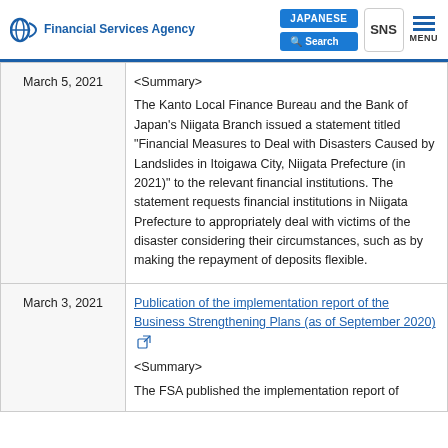Financial Services Agency | JAPANESE | Search | SNS | MENU
| Date | Content |
| --- | --- |
| March 5, 2021 | <Summary>
The Kanto Local Finance Bureau and the Bank of Japan's Niigata Branch issued a statement titled "Financial Measures to Deal with Disasters Caused by Landslides in Itoigawa City, Niigata Prefecture (in 2021)" to the relevant financial institutions. The statement requests financial institutions in Niigata Prefecture to appropriately deal with victims of the disaster considering their circumstances, such as by making the repayment of deposits flexible. |
| March 3, 2021 | Publication of the implementation report of the Business Strengthening Plans (as of September 2020)
<Summary>
The FSA published the implementation report of |